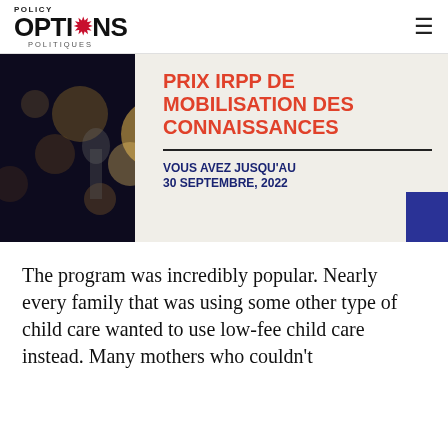POLICY OPTIONS POLITIQUES
[Figure (photo): Promotional banner for PRIX IRPP DE MOBILISATION DES CONNAISSANCES award, with bokeh lights background on the left and text on a light panel on the right reading: PRIX IRPP DE MOBILISATION DES CONNAISSANCES / VOUS AVEZ JUSQU'AU 30 SEPTEMBRE, 2022]
The program was incredibly popular. Nearly every family that was using some other type of child care wanted to use low-fee child care instead. Many mothers who couldn't